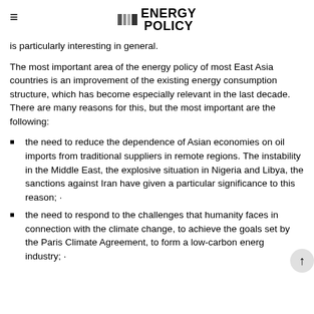ENERGY POLICY
is particularly interesting in general.
The most important area of the energy policy of most East Asia countries is an improvement of the existing energy consumption structure, which has become especially relevant in the last decade. There are many reasons for this, but the most important are the following:
the need to reduce the dependence of Asian economies on oil imports from traditional suppliers in remote regions. The instability in the Middle East, the explosive situation in Nigeria and Libya, the sanctions against Iran have given a particular significance to this reason; ·
the need to respond to the challenges that humanity faces in connection with the climate change, to achieve the goals set by the Paris Climate Agreement, to form a low-carbon energy industry; ·